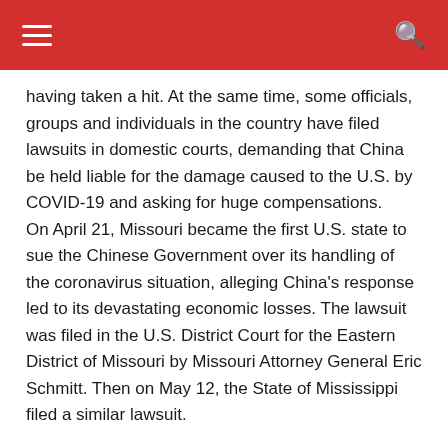≡  [search icon]
having taken a hit. At the same time, some officials, groups and individuals in the country have filed lawsuits in domestic courts, demanding that China be held liable for the damage caused to the U.S. by COVID-19 and asking for huge compensations. On April 21, Missouri became the first U.S. state to sue the Chinese Government over its handling of the coronavirus situation, alleging China's response led to its devastating economic losses. The lawsuit was filed in the U.S. District Court for the Eastern District of Missouri by Missouri Attorney General Eric Schmitt. Then on May 12, the State of Mississippi filed a similar lawsuit.
The U.S. Government has expressed support for these lawsuits. Some Congress members have also said that